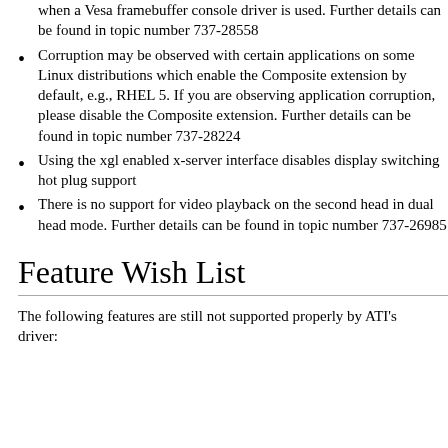when a Vesa framebuffer console driver is used. Further details can be found in topic number 737-28558
Corruption may be observed with certain applications on some Linux distributions which enable the Composite extension by default, e.g., RHEL 5. If you are observing application corruption, please disable the Composite extension. Further details can be found in topic number 737-28224
Using the xgl enabled x-server interface disables display switching hot plug support
There is no support for video playback on the second head in dual head mode. Further details can be found in topic number 737-26985
Feature Wish List
The following features are still not supported properly by ATI's driver: